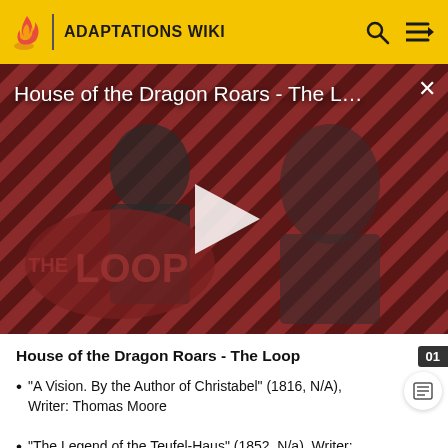ADAPTATIONS WIKI
[Figure (screenshot): Video thumbnail for 'House of the Dragon Roars - The Loop' showing two characters against a diagonal striped red/dark background with a play button overlay and 'THE LOOP' text logo]
House of the Dragon Roars - The Loop
"A Vision. By the Author of Christabel" (1816, N/A), Writer: Thomas Moore
"The Legend of the Teufel-Haus" (1852, N/a), Writer: Winthrop Mackworth Praed